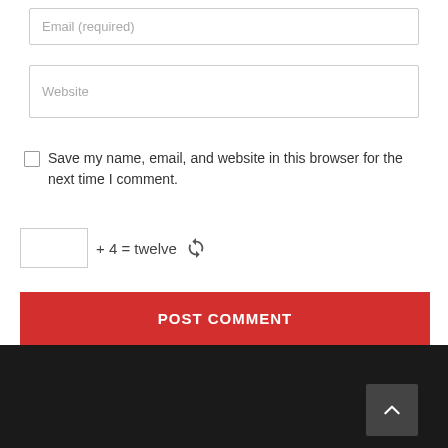Email (required)
Website
Save my name, email, and website in this browser for the next time I comment.
+ 4 = twelve
POST COMMENT
[Figure (screenshot): Dark footer bar with a back-to-top button (caret/chevron up icon) on the right side]